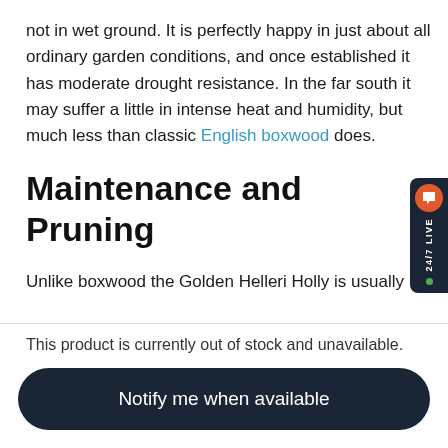not in wet ground. It is perfectly happy in just about all ordinary garden conditions, and once established it has moderate drought resistance. In the far south it may suffer a little in intense heat and humidity, but much less than classic English boxwood does.
Maintenance and Pruning
Unlike boxwood the Golden Helleri Holly is usually free of pests or diseases or any significance. Some evergreen fertilizer in spring and early summer – use a liquid form fo
This product is currently out of stock and unavailable.
Notify me when available